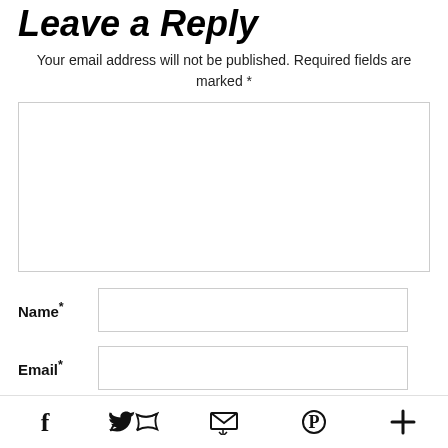Leave a Reply
Your email address will not be published. Required fields are marked *
[Figure (other): Large comment text area input box]
Name*
[Figure (other): Name input field]
Email*
[Figure (other): Email input field]
[Figure (other): Submit button (green/sage colored) with up arrow icon, partially visible]
Facebook, Twitter, Email share, Pinterest, More — social share icons